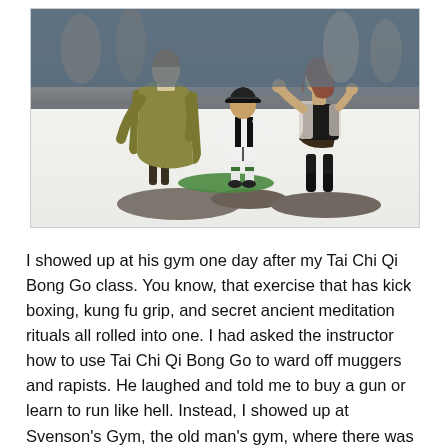[Figure (photo): Photo of three painted miniature figurines on a gaming base — a figure in a long coat on the left, a small figure in the center wearing a cap and sports kit, and a female figure on the right in dark clothing — displayed on a green and brown base on a white surface, with a blurred gaming table background showing more miniatures and grey terrain.]
I showed up at his gym one day after my Tai Chi Qi Bong Go class. You know, that exercise that has kick boxing, kung fu grip, and secret ancient meditation rituals all rolled into one. I had asked the instructor how to use Tai Chi Qi Bong Go to ward off muggers and rapists. He laughed and told me to buy a gun or learn to run like hell. Instead, I showed up at Svenson's Gym, the old man's gym, where there was a sign advertising to train fighters. At first, the